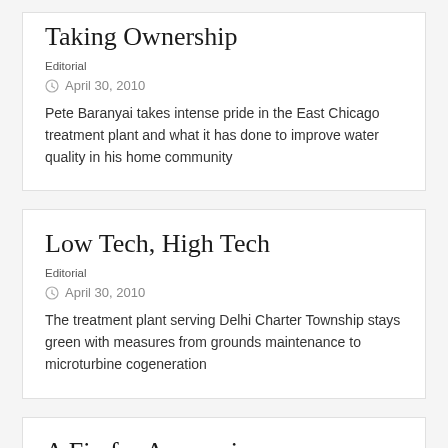Taking Ownership
Editorial
April 30, 2010
Pete Baranyai takes intense pride in the East Chicago treatment plant and what it has done to improve water quality in his home community
Low Tech, High Tech
Editorial
April 30, 2010
The treatment plant serving Delhi Charter Township stays green with measures from grounds maintenance to microturbine cogeneration
A Fix for Ammonia